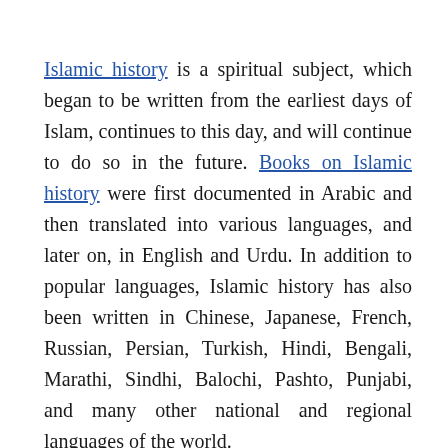Islamic history is a spiritual subject, which began to be written from the earliest days of Islam, continues to this day, and will continue to do so in the future. Books on Islamic history were first documented in Arabic and then translated into various languages, and later on, in English and Urdu. In addition to popular languages, Islamic history has also been written in Chinese, Japanese, French, Russian, Persian, Turkish, Hindi, Bengali, Marathi, Sindhi, Balochi, Pashto, Punjabi, and many other national and regional languages of the world.
The Muslims first started writing on Islamic history,